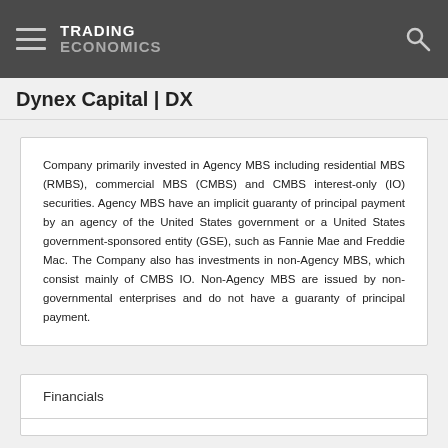TRADING ECONOMICS
Dynex Capital | DX
Company primarily invested in Agency MBS including residential MBS (RMBS), commercial MBS (CMBS) and CMBS interest-only (IO) securities. Agency MBS have an implicit guaranty of principal payment by an agency of the United States government or a United States government-sponsored entity (GSE), such as Fannie Mae and Freddie Mac. The Company also has investments in non-Agency MBS, which consist mainly of CMBS IO. Non-Agency MBS are issued by non-governmental enterprises and do not have a guaranty of principal payment.
Financials